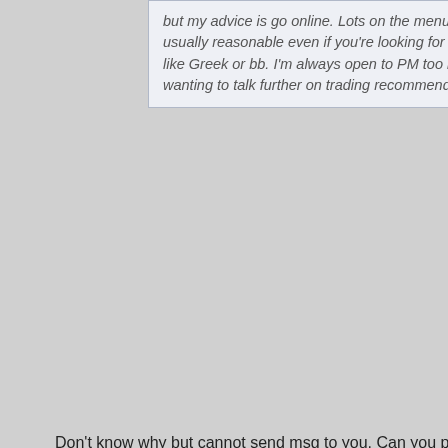but my advice is go online. Lots on the menus, and usually reasonable even if you're looking for extras like Greek or bb. I'm always open to PM too if wanting to talk further on trading recommendations.
Don't know why but cannot send msg to you. Can you provide me some lead? Thanks a lot.
Reply With Quote
#1470
OMG somebody else on here! It's been forever! The street is pretty sparse the last couple of years since now most adults with any wherewithal are managing to post online these days. Much less on the streets as a result and with only a few exceptions all I see out there is mostly the most desperate or the